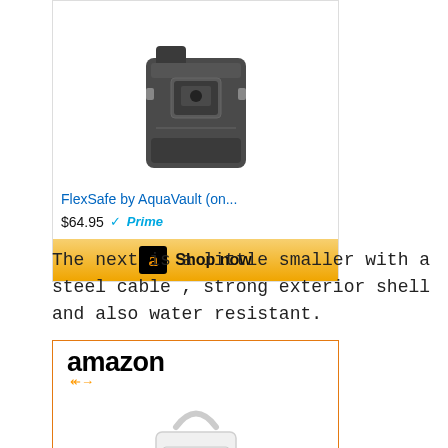[Figure (screenshot): Amazon product card showing a dark camera/travel bag (FlexSafe by AquaVault) with Shop now button, priced at $64.95 with Prime badge]
The next is a little smaller with a steel cable , strong exterior shell and also water resistant.
[Figure (screenshot): Amazon product card showing a white portable safe (SAFEGO Portable...) with cable handle, branded with Amazon logo at top]